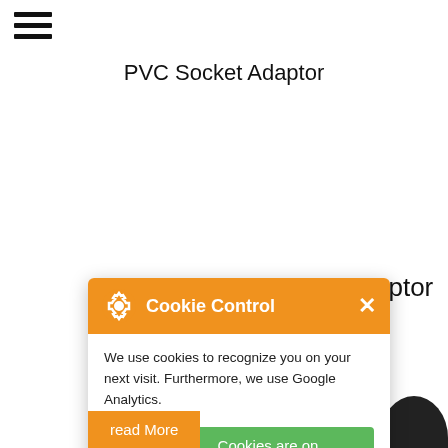PVC Socket Adaptor
[Figure (screenshot): Cookie Control popup overlay on a product page showing PVC Socket Adaptor. Popup has orange header with gear icon, 'Cookie Control' title and X close button. Body text: 'We use cookies to recognize you on your next visit. Furthermore, we use Google Analytics.' Toggle showing 'Cookies are on' in green. Link 'about this tool' in orange. Orange 'read More' button at bottom.]
aptor
We use cookies to recognize you on your next visit. Furthermore, we use Google Analytics.
Cookies are on
about this tool
read More